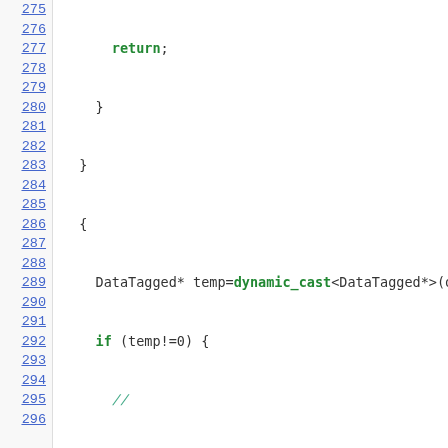Source code listing lines 275-296 showing C++ code with dynamic_cast operations for DataTagged and DataConstant types